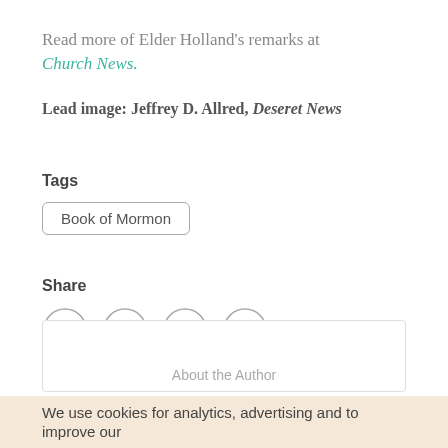Read more of Elder Holland's remarks at Church News.
Lead image: Jeffrey D. Allred, Deseret News
Tags
Book of Mormon
Share
[Figure (infographic): Share icons: Twitter, Pinterest, Email, Print — each inside a circle outline]
About the Author
We use cookies for analytics, advertising and to improve our